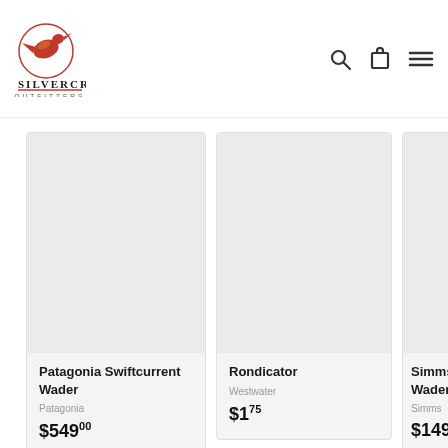Silver Creek Outfitters — navigation header with logo, search, cart, and menu icons
[Figure (logo): Silver Creek Outfitters logo: orange bird (kingfisher) inside a circle, with 'SILVERCREEK' in serif bold uppercase and 'OUTFITTERS' in small caps below]
Patagonia Swiftcurrent Wader
Patagonia
$549.00
Rondicator
Westwater
$1.75
Simms Wader
Simms
$149.